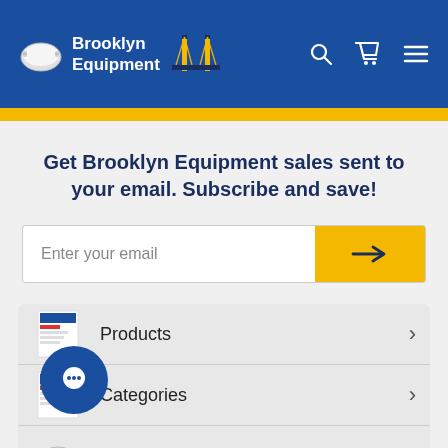[Figure (logo): Brooklyn Equipment logo with face mask icon, bridge icon, and white bold text on blue background with navigation icons (search, cart, hamburger menu)]
Get Brooklyn Equipment sales sent to your email. Subscribe and save!
Enter your email
Products
Categories
All Masks